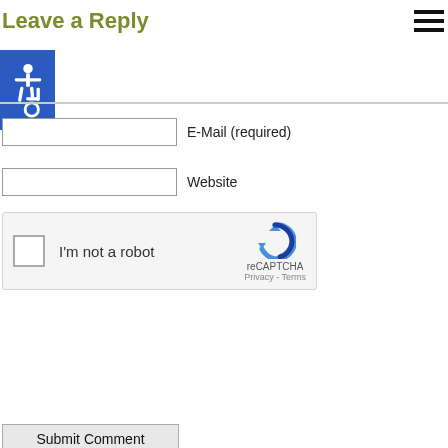Leave a Reply
[Figure (illustration): Accessibility wheelchair icon on blue background square]
E-Mail (required)
Website
[Figure (screenshot): reCAPTCHA widget with checkbox 'I'm not a robot' and reCAPTCHA logo with Privacy - Terms links]
Submit Comment